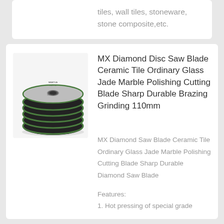tiles, wall tiles, stoneware, stone composite,etc.
[Figure (photo): Stack of diamond disc saw blades with green and black coloring, branded with a logo on top disc]
MX Diamond Disc Saw Blade Ceramic Tile Ordinary Glass Jade Marble Polishing Cutting Blade Sharp Durable Brazing Grinding 110mm
MX Diamond Saw Blade Ceramic Tile Ordinary Glass Jade Marble Polishing Cutting Blade Sharp Durable Diamond Saw Blade
Features:
1. Hot pressing of special grade